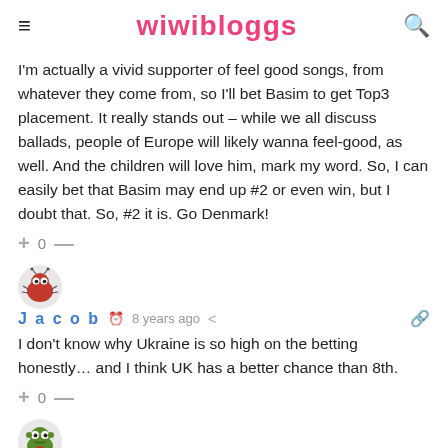wiwibloggs
I'm actually a vivid supporter of feel good songs, from whatever they come from, so I'll bet Basim to get Top3 placement. It really stands out – while we all discuss ballads, people of Europe will likely wanna feel-good, as well. And the children will love him, mark my word. So, I can easily bet that Basim may end up #2 or even win, but I doubt that. So, #2 it is. Go Denmark!
+ 0 —
[Figure (illustration): User avatar: cartoon bug/monster character with red body]
Jacob  8 years ago
I don't know why Ukraine is so high on the betting honestly… and I think UK has a better chance than 8th.
+ 0 —
[Figure (illustration): User avatar: cartoon green frog/monster character]